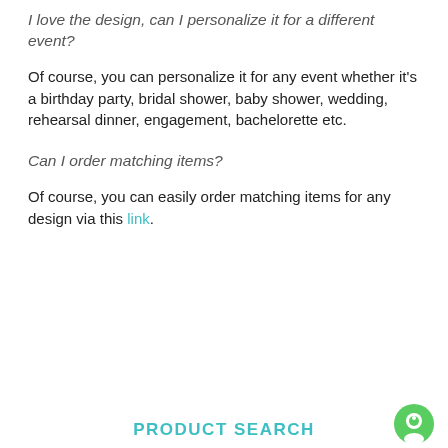I love the design, can I personalize it for a different event?
Of course, you can personalize it for any event whether it’s a birthday party, bridal shower, baby shower, wedding, rehearsal dinner, engagement, bachelorette etc.
Can I order matching items?
Of course, you can easily order matching items for any design via this link.
PRODUCT SEARCH